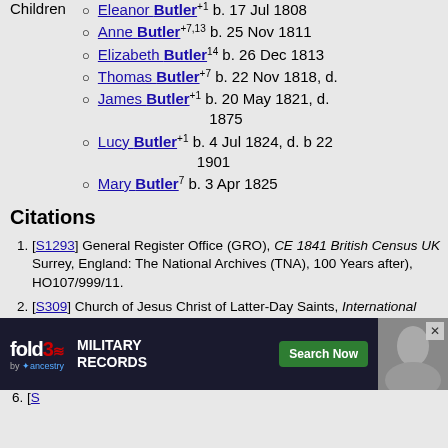Eleanor Butler+1 b. 17 Jul 1808
Anne Butler+7,13 b. 25 Nov 1811
Elizabeth Butler14 b. 26 Dec 1813
Thomas Butler+7 b. 22 Nov 1818, d.
James Butler+1 b. 20 May 1821, d. 1875
Lucy Butler+1 b. 4 Jul 1824, d. b 22 1901
Mary Butler7 b. 3 Apr 1825
Citations
[S1293] General Register Office (GRO), CE 1841 British Census UK Surrey, England: The National Archives (TNA), 100 Years after), HO107/999/11.
[S309] Church of Jesus Christ of Latter-Day Saints, International Genealogical Index and Various records on the world wide web: FamilySearch International Genealogical Index. (http://www.familysearch.org/: Church of Jesus Christ of Latter-Day Saints, Various), M010201.
[S1413] General Register Office (GRO), CE 1851 British Census UK Surrey, England: The National Archives (TNA), 100 Years after), HO
[S1476] Various, WWW Information sourced from the World Wide Web (Various, Various), Wolverhampton Parish Registers St Peters Bapti
[S1478] Various, WWW Information sourced from the World Wide Web Various, Wolverhampton Parish Registers